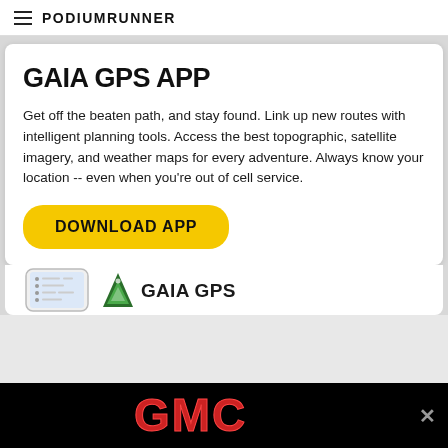PodiumRunner
GAIA GPS APP
Get off the beaten path, and stay found. Link up new routes with intelligent planning tools. Access the best topographic, satellite imagery, and weather maps for every adventure. Always know your location -- even when you’re out of cell service.
DOWNLOAD APP
[Figure (screenshot): Phone mockup showing app screen next to GAIA GPS logo with green mountain triangle icon]
[Figure (logo): GMC logo in red lettering on black background advertisement bar with close button]